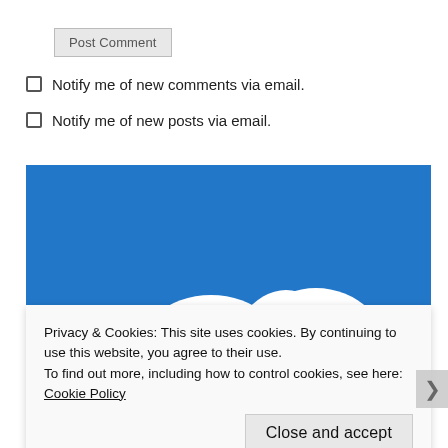Post Comment
Notify me of new comments via email.
Notify me of new posts via email.
[Figure (logo): Blue background with white stylized logo shape (partial, cropped at bottom)]
Privacy & Cookies: This site uses cookies. By continuing to use this website, you agree to their use.
To find out more, including how to control cookies, see here: Cookie Policy
Close and accept